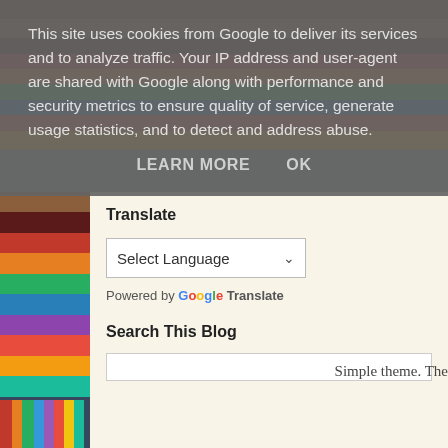This site uses cookies from Google to deliver its services and to analyze traffic. Your IP address and user-agent are shared with Google along with performance and security metrics to ensure quality of service, generate usage statistics, and to detect and address abuse.
LEARN MORE    OK
Translate
Select Language
Powered by Google Translate
Search This Blog
Simple theme. The